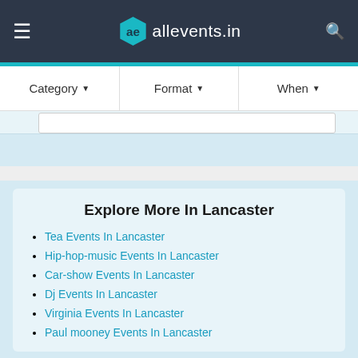allevents.in
Category ▾   Format ▾   When ▾
Explore More In Lancaster
Tea Events In Lancaster
Hip-hop-music Events In Lancaster
Car-show Events In Lancaster
Dj Events In Lancaster
Virginia Events In Lancaster
Paul mooney Events In Lancaster